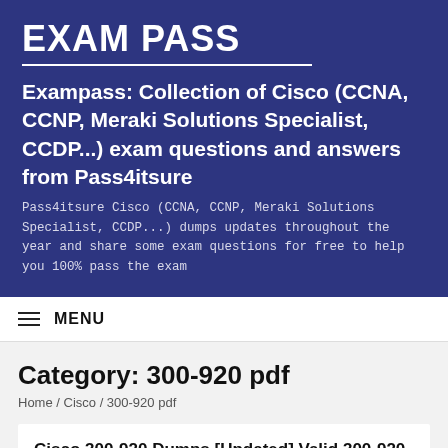EXAM PASS
Exampass: Collection of Cisco (CCNA, CCNP, Meraki Solutions Specialist, CCDP...) exam questions and answers from Pass4itsure
Pass4itsure Cisco (CCNA, CCNP, Meraki Solutions Specialist, CCDP...) dumps updates throughout the year and share some exam questions for free to help you 100% pass the exam
MENU
Category: 300-920 pdf
Home / Cisco / 300-920 pdf
Cisco 300-920 Dumps [Updated] Valid 300-920 DEVWBX Exam Learning Materials